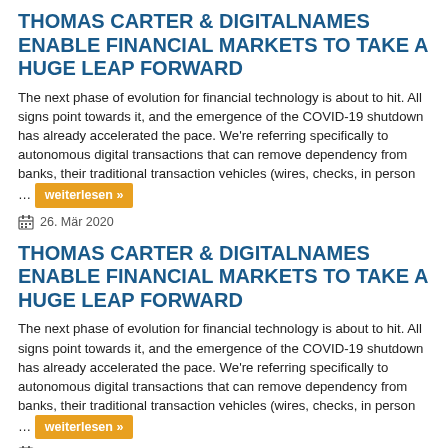THOMAS CARTER & DIGITALNAMES ENABLE FINANCIAL MARKETS TO TAKE A HUGE LEAP FORWARD
The next phase of evolution for financial technology is about to hit. All signs point towards it, and the emergence of the COVID-19 shutdown has already accelerated the pace. We're referring specifically to autonomous digital transactions that can remove dependency from banks, their traditional transaction vehicles (wires, checks, in person … weiterlesen »
26. Mär 2020
THOMAS CARTER & DIGITALNAMES ENABLE FINANCIAL MARKETS TO TAKE A HUGE LEAP FORWARD
The next phase of evolution for financial technology is about to hit. All signs point towards it, and the emergence of the COVID-19 shutdown has already accelerated the pace. We're referring specifically to autonomous digital transactions that can remove dependency from banks, their traditional transaction vehicles (wires, checks, in person … weiterlesen »
26. Mär 2020